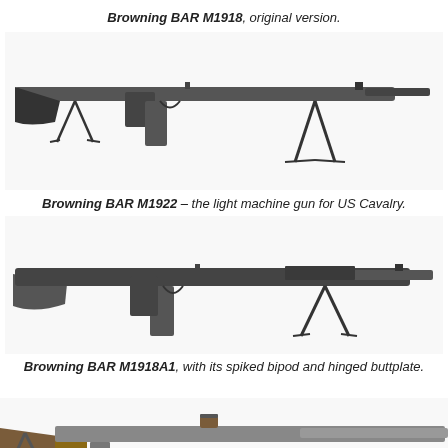Browning BAR M1918, original version.
[Figure (photo): Browning BAR M1918 original version rifle with bipod, side view, black and white photograph]
Browning BAR M1922 – the light machine gun for US Cavalry.
[Figure (photo): Browning BAR M1922 light machine gun with bipod, side view, black and white photograph]
Browning BAR M1918A1, with its spiked bipod and hinged buttplate.
[Figure (photo): Browning BAR M1918A1 with spiked bipod and hinged buttplate, partial side view photograph]